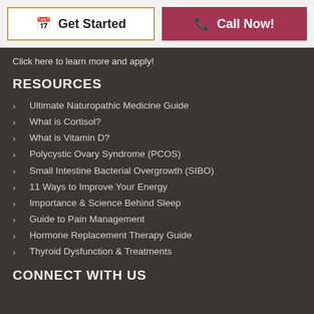Get Started | Call Now!
Click here to learn more and apply!
RESOURCES
Ultimate Naturopathic Medicine Guide
What is Cortisol?
What is Vitamin D?
Polycystic Ovary Syndrome (PCOS)
Small Intestine Bacterial Overgrowth (SIBO)
11 Ways to Improve Your Energy
Importance & Science Behind Sleep
Guide to Pain Management
Hormone Replacement Therapy Guide
Thyroid Dysfunction & Treatments
CONNECT WITH US